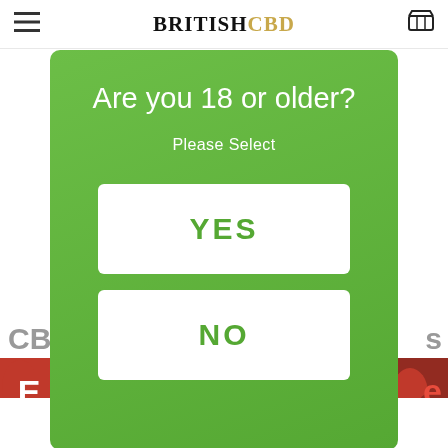BRITISHCBD
[Figure (screenshot): Age verification modal overlay on BritishCBD website. Green modal dialog with white text asking 'Are you 18 or older?' with a 'Please Select' subtitle and two white buttons labeled YES and NO in green text. Behind the modal: partial page content including 'CB' text on left, 's' on right, and a colorful fruit/vegetable image strip.]
We use cookies on this site to enhance your user